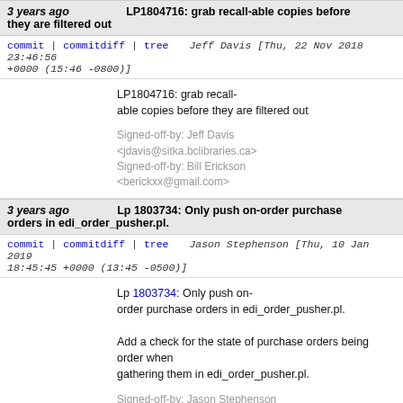3 years ago  LP1804716: grab recall-able copies before they are filtered out
commit | commitdiff | tree   Jeff Davis [Thu, 22 Nov 2018 23:46:56 +0000 (15:46 -0800)]
LP1804716: grab recall-able copies before they are filtered out

Signed-off-by: Jeff Davis <jdavis@sitka.bclibraries.ca>
Signed-off-by: Bill Erickson <berickxx@gmail.com>
3 years ago  Lp 1803734: Only push on-order purchase orders in edi_order_pusher.pl.
commit | commitdiff | tree   Jason Stephenson [Thu, 10 Jan 2019 18:45:45 +0000 (13:45 -0500)]
Lp 1803734: Only push on-order purchase orders in edi_order_pusher.pl.

Add a check for the state of purchase orders being order when gathering them in edi_order_pusher.pl.

Signed-off-by: Jason Stephenson <jason@sigio.com>
Signed-off-by: Chris Sharp <csharp@georgialibraries.org>